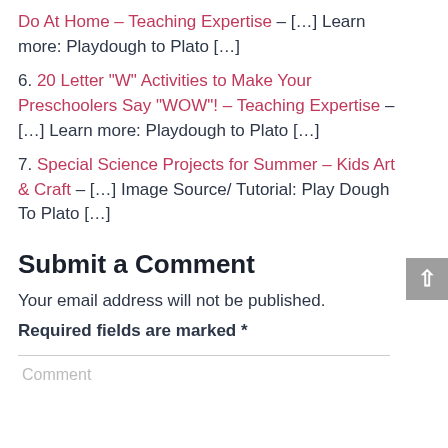Do At Home - Teaching Expertise - [...] Learn more: Playdough to Plato [...]
6. 20 Letter "W" Activities to Make Your Preschoolers Say "WOW"! - Teaching Expertise - [...] Learn more: Playdough to Plato [...]
7. Special Science Projects for Summer - Kids Art & Craft - [...] Image Source/ Tutorial: Play Dough To Plato [...]
Submit a Comment
Your email address will not be published.
Required fields are marked *